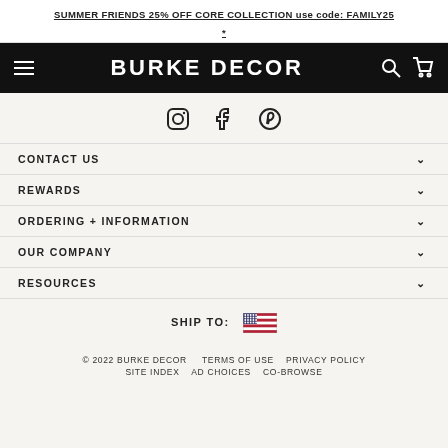SUMMER FRIENDS 25% OFF CORE COLLECTION use code: FAMILY25 *
BURKE DECOR
[Figure (logo): Social media icons: Instagram, Facebook, Pinterest]
CONTACT US
REWARDS
ORDERING + INFORMATION
OUR COMPANY
RESOURCES
SHIP TO: [US Flag]
© 2022 BURKE DECOR   TERMS OF USE   PRIVACY POLICY   SITE INDEX   AD CHOICES   CO-BROWSE